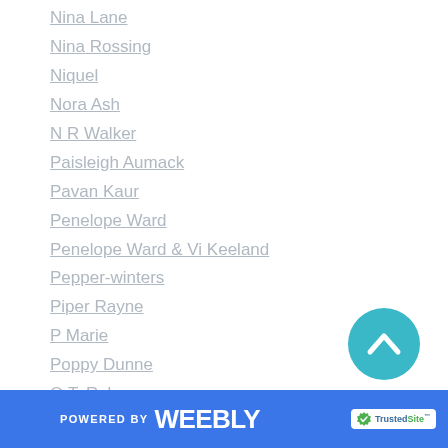Nina Lane
Nina Rossing
Niquel
Nora Ash
N R Walker
Paisleigh Aumack
Pavan Kaur
Penelope Ward
Penelope Ward & Vi Keeland
Pepper-winters
Piper Rayne
P Marie
Poppy Dunne
Q.T. Ruby
Rachael Tonks
Rachel Blaufeld
Rachel-robinson
[Figure (other): Teal circular scroll-to-top button with upward chevron arrow]
POWERED BY weebly | TrustedSite